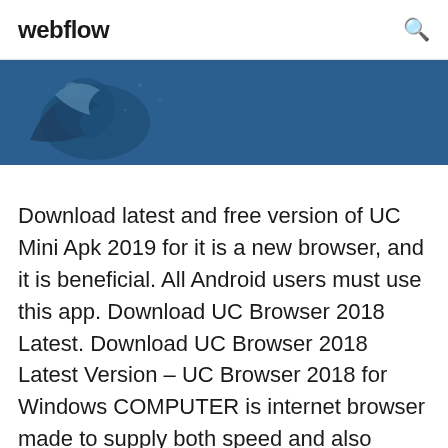webflow
[Figure (illustration): Dark blue banner with a partial bird/globe illustration in the top-left corner]
Download latest and free version of UC Mini Apk 2019 for it is a new browser, and it is beneficial. All Android users must use this app. Download UC Browser 2018 Latest. Download UC Browser 2018 Latest Version – UC Browser 2018 for Windows COMPUTER is internet browser made to supply both speed and also compatibility with modern web sites. It enables you to